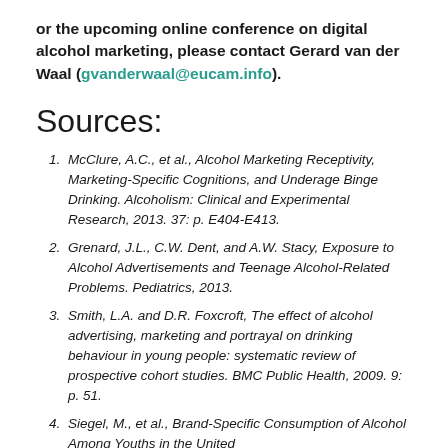or the upcoming online conference on digital alcohol marketing, please contact Gerard van der Waal (gvanderwaal@eucam.info).
Sources:
McClure, A.C., et al., Alcohol Marketing Receptivity, Marketing-Specific Cognitions, and Underage Binge Drinking. Alcoholism: Clinical and Experimental Research, 2013. 37: p. E404-E413.
Grenard, J.L., C.W. Dent, and A.W. Stacy, Exposure to Alcohol Advertisements and Teenage Alcohol-Related Problems. Pediatrics, 2013.
Smith, L.A. and D.R. Foxcroft, The effect of alcohol advertising, marketing and portrayal on drinking behaviour in young people: systematic review of prospective cohort studies. BMC Public Health, 2009. 9: p. 51.
Siegel, M., et al., Brand-Specific Consumption of Alcohol Among Youths in the United...